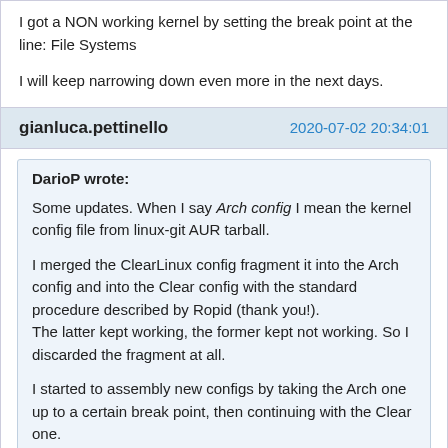I got a NON working kernel by setting the break point at the line: File Systems
I will keep narrowing down even more in the next days.
gianluca.pettinello   2020-07-02 20:34:01
DarioP wrote: Some updates. When I say Arch config I mean the kernel config file from linux-git AUR tarball. I merged the ClearLinux config fragment it into the Arch config and into the Clear config with the standard procedure described by Ropid (thank you!). The latter kept working, the former kept not working. So I discarded the fragment at all. I started to assembly new configs by taking the Arch one up to a certain break point, then continuing with the Clear one. I got a working kernel by setting the break point at the line: end of Graphics support I got a NON working kernel by setting the break point at the line: